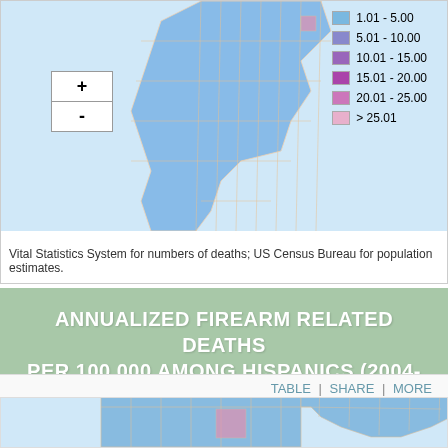[Figure (map): Partial choropleth map of US states showing annualized firearm related deaths per 100,000, with zoom controls (+/-) and a color legend ranging from 1.01-5.00 (light blue) to >25.01 (light pink)]
Vital Statistics System for numbers of deaths; US Census Bureau for population estimates.
ANNUALIZED FIREARM RELATED DEATHS PER 100,000 AMONG HISPANICS (2004-2010)
TABLE | SHARE | MORE
ANNUALIZED FIREARM RELATED DEATHS PER 100,000 AMONG HISPANICS (2004-2010)
Includes Violence Related Intents (Homicide, Legal Intervention, and Suicide)
[Figure (map): Partial choropleth county-level map showing annualized firearm deaths per 100,000 among Hispanics (2004-2010). Counties shown in blue with grid pattern, some pink/purple counties visible at bottom.]